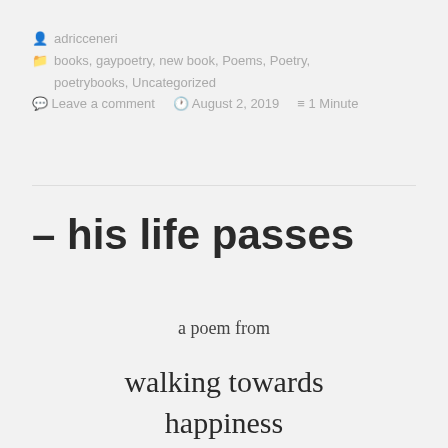adricceneri
books, gaypoetry, new book, Poems, Poetry, poetrybooks, Uncategorized
Leave a comment  August 2, 2019  1 Minute
– his life passes
a poem from
walking towards happiness